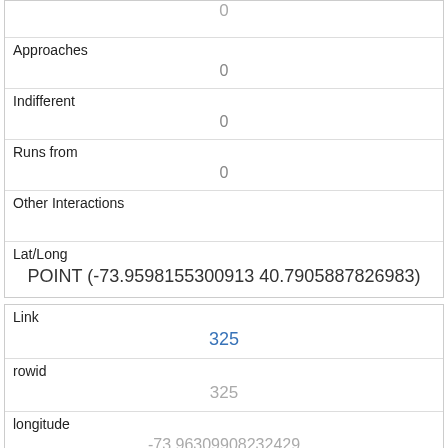|  | 0 |
| Approaches | 0 |
| Indifferent | 0 |
| Runs from | 0 |
| Other Interactions |  |
| Lat/Long | POINT (-73.9598155300913 40.7905887826983) |
| Link | 325 |
| rowid | 325 |
| longitude | -73.96309908232429 |
| latitude | 40.788576428401605 |
| Unique Squirrel ID |  |